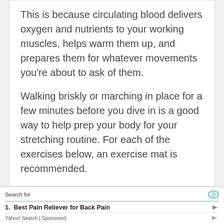This is because circulating blood delivers oxygen and nutrients to your working muscles, helps warm them up, and prepares them for whatever movements you're about to ask of them.
Walking briskly or marching in place for a few minutes before you dive in is a good way to help prep your body for your stretching routine. For each of the exercises below, an exercise mat is recommended.
Cat-Cow
Search for
1. Best Pain Reliever for Back Pain
Yahoo! Search | Sponsored